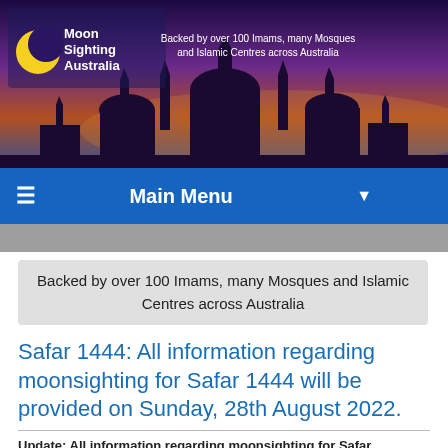[Figure (illustration): Moon Sighting Australia website banner with purple/orange gradient background, mosque silhouettes, crescent moon logo, and text 'Moon Sighting Australia'. Tagline: 'Backed by over 100 Imams, many Mosques and Islamic Centres across Australia']
Main Menu
Backed by over 100 Imams, many Mosques and Islamic Centres across Australia
Safar 1444: All information regarding moonsighting for Safar 1444 will be provided on Sunday, 28th August 2022.
Update: All information regarding moonsighting for Safar